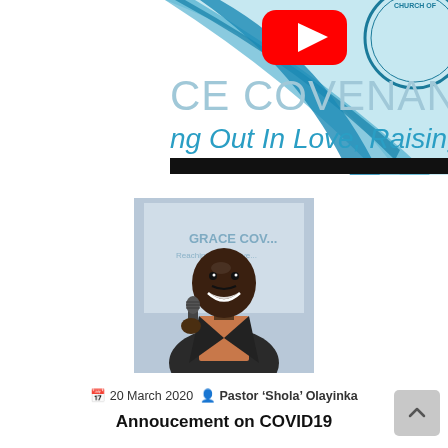[Figure (illustration): Grace Covenant Centre church banner/logo with YouTube play button icon, circular church logo on right (Church of...), blue swoosh design, text 'CE COVENANT CEN' and 'ng Out In Love, Raising Char', with a black bar below]
[Figure (photo): Photo of Pastor 'Shola' Olayinka, a smiling man in a dark suit holding a microphone, with Grace Covenant Centre banner/logo visible in the background]
📅 20 March 2020 👤 Pastor 'Shola' Olayinka
Annoucement on COVID19